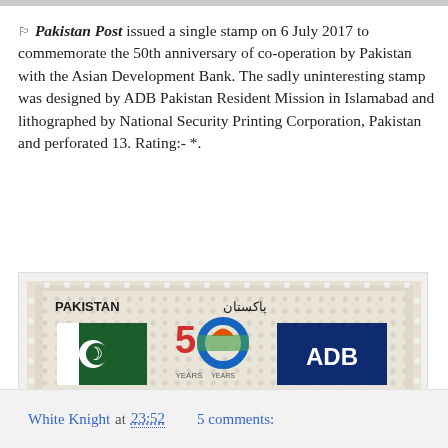🏳 Pakistan Post issued a single stamp on 6 July 2017 to commemorate the 50th anniversary of co-operation by Pakistan with the Asian Development Bank. The sadly uninteresting stamp was designed by ADB Pakistan Resident Mission in Islamabad and lithographed by National Security Printing Corporation, Pakistan and perforated 13. Rating:- *.
[Figure (photo): Pakistan stamp commemorating 50 years of ADB partnership, showing Pakistan flag, 50 Years logo, and ADB logo, denomination RS.8]
White Knight at 23:52    5 comments: